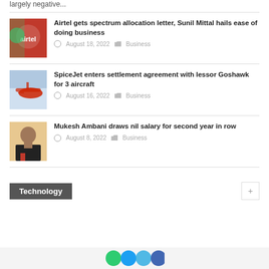largely negative...
Airtel gets spectrum allocation letter, Sunil Mittal hails ease of doing business
August 18, 2022 · Business
SpiceJet enters settlement agreement with lessor Goshawk for 3 aircraft
August 16, 2022 · Business
Mukesh Ambani draws nil salary for second year in row
August 8, 2022 · Business
Technology